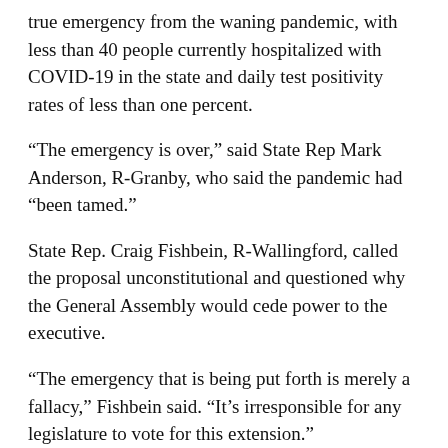true emergency from the waning pandemic, with less than 40 people currently hospitalized with COVID-19 in the state and daily test positivity rates of less than one percent.
“The emergency is over,” said State Rep Mark Anderson, R-Granby, who said the pandemic had “been tamed.”
State Rep. Craig Fishbein, R-Wallingford, called the proposal unconstitutional and questioned why the General Assembly would cede power to the executive.
“The emergency that is being put forth is merely a fallacy,” Fishbein said. “It’s irresponsible for any legislature to vote for this extension.”
Carol Platt Liebau, president of the Yankee Institute, said that after more than a year of masks and lockdowns,